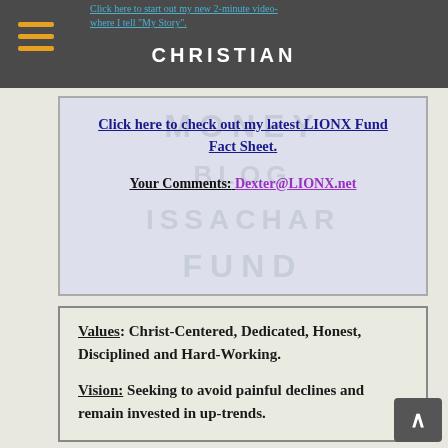CHRISTIAN MONEY BLOG ISSACHAR FUND
Click here to check out my latest LIONX Fund Fact Sheet.
Your Comments: Dexter@LIONX.net
Values: Christ-Centered, Dedicated, Honest, Disciplined and Hard-Working.
Vision: Seeking to avoid painful declines and remain invested in up-trends.